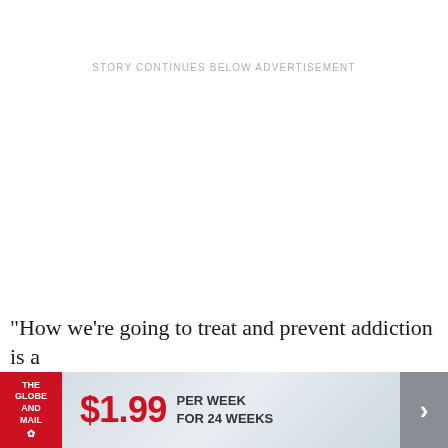STORY CONTINUES BELOW ADVERTISEMENT
"How we're going to treat and prevent addiction is a
[Figure (other): Globe and Mail subscription advertisement banner showing $1.99 per week for 24 weeks with red Globe and Mail logo on left and arrow on right]